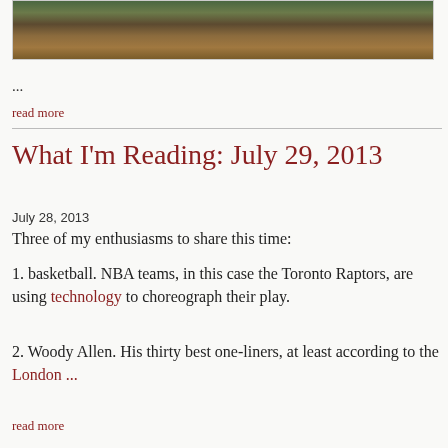[Figure (photo): Outdoor nature photo showing fallen tree trunk, roots, and trees/bushes in background]
...
read more
What I'm Reading: July 29, 2013
July 28, 2013
Three of my enthusiasms to share this time:
1. basketball. NBA teams, in this case the Toronto Raptors, are using technology to choreograph their play.
2. Woody Allen. His thirty best one-liners, at least according to the London ...
read more